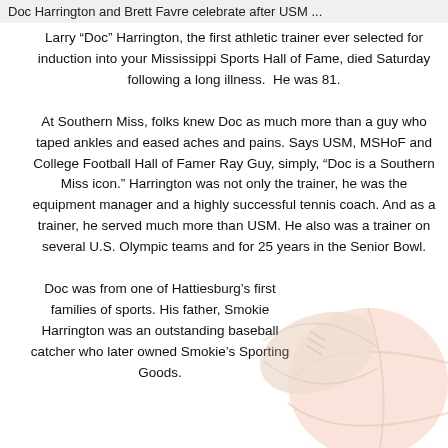Doc Harrington and Brett Favre celebrate after USM...
Larry “Doc” Harrington, the first athletic trainer ever selected for induction into your Mississippi Sports Hall of Fame, died Saturday following a long illness.  He was 81.
At Southern Miss, folks knew Doc as much more than a guy who taped ankles and eased aches and pains. Says USM, MSHoF and College Football Hall of Famer Ray Guy, simply, “Doc is a Southern Miss icon.” Harrington was not only the trainer, he was the equipment manager and a highly successful tennis coach. And as a trainer, he served much more than USM. He also was a trainer on several U.S. Olympic teams and for 25 years in the Senior Bowl.
Doc was from one of Hattiesburg’s first families of sports. His father, Smokie Harrington was an outstanding baseball catcher who later owned Smokie’s Sporting Goods.
[Figure (photo): Sports balls (football and basketball) in the lower right corner as a decorative background image]